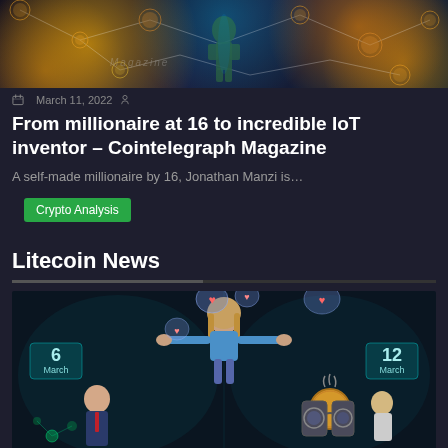[Figure (illustration): Colorful crypto/blockchain illustration with glowing gold coin-like spheres connected by network lines on a dark background, with a green humanoid figure in center. 'Magazine' text watermark visible.]
March 11, 2022
From millionaire at 16 to incredible IoT inventor – Cointelegraph Magazine
A self-made millionaire by 16, Jonathan Manzi is…
Crypto Analysis
Litecoin News
[Figure (illustration): Crypto news collage illustration showing a woman in blue shirt with thought bubbles containing hearts and crypto icons, date badges showing '6 March' and '12 March', a man in suit with blockchain network in lower left, and a crypto coin mascot with laundry machines in lower right.]